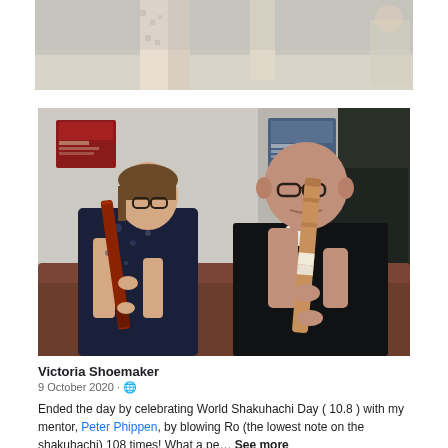[Figure (photo): Partial top strip of a photo showing legs/feet of a person standing, with patterned leggings visible, light background]
[Figure (photo): Two people playing shakuhachi flutes indoors. A woman on the left wearing a floral dress and glasses plays a reddish-brown shakuhachi. A man on the right in a black suit and glasses plays a wooden shakuhachi. Posters are visible on the wall behind them.]
Victoria Shoemaker
9 October 2020 · 🌐
Ended the day by celebrating World Shakuhachi Day ( 10.8 ) with my mentor, Peter Phippen, by blowing Ro (the lowest note on the shakuhachi) 108 times! What a pe... See more